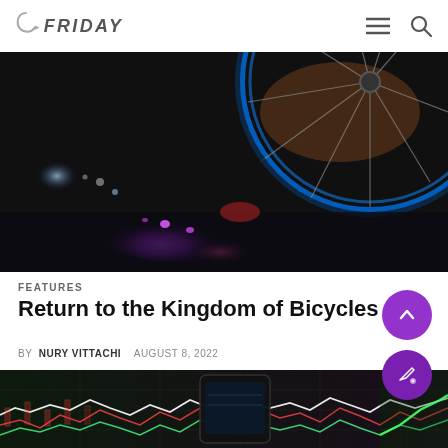FRIDAY (logo) — navigation
[Figure (photo): Close-up of a bicycle wheel on wet asphalt with colorful puddle reflections showing purple and pink hues at night]
FEATURES
Return to the Kingdom of Bicycles
BY NURY VITTACHI   AUGUST 8, 2022
[Figure (photo): Blurred stock market chart with green and red candlestick lines and a smartphone in foreground showing a trading app]